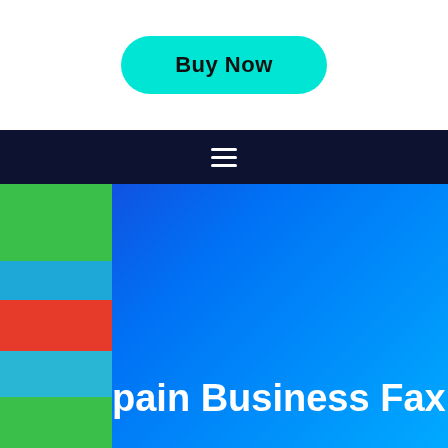[Figure (other): Cyan 'Buy Now' rounded button on white background]
[Figure (other): Dark navy navigation bar with hamburger menu icon (three horizontal white lines)]
Spain Business Fax List
Mobile Database provides Fax Lists all online fax to promote your online marketing work. However, we present fax lists in a very beautiful way. Above all, the fax list contains all the calling information data for your company. Therefore, here you will get only accurate cleaned and real lists. After that, you can view our Buy Mobile Database keep in touch with business and consumer fax lists, you easily get an updated fax list.